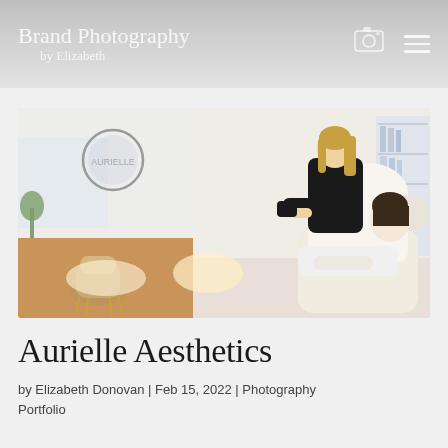Brand Photography by Elizabeth
[Figure (photo): A brand photography image showing an aesthetics clinic. Left side shows a treatment room with a circular logo on the wall, a gold velvet chair, and white surfaces. Right side shows a practitioner in a black top treating a client reclined in a white treatment chair, with shelving of products visible in the background.]
Aurielle Aesthetics
by Elizabeth Donovan | Feb 15, 2022 | Photography Portfolio